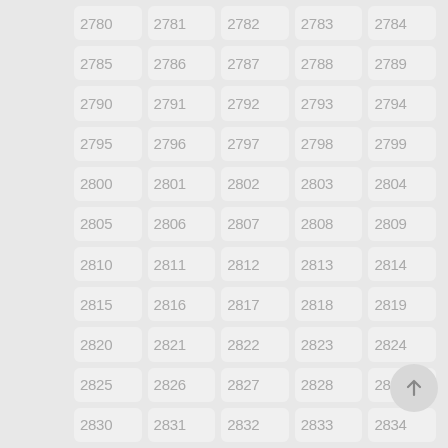[Figure (other): Grid of numbered cells from 2780 to 2834 arranged in 5 columns and 11 rows, each in a rounded rectangle tile with light gray background. Numbers are in light gray thin font. A circular floating action button with an upward arrow is visible at bottom right.]